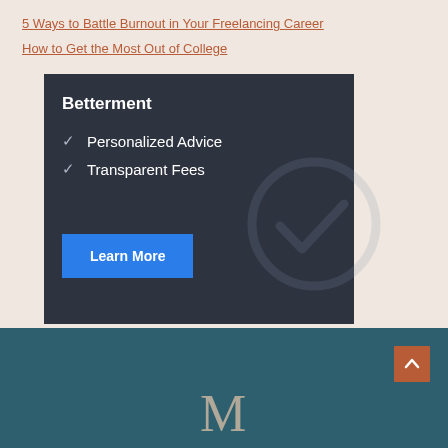5 Ways to Battle Burnout in Your Freelancing Career
How to Get the Most Out of College
[Figure (infographic): Betterment advertisement banner with dark background showing 'Betterment' brand name, two checkmark items ('Personalized Advice', 'Transparent Fees'), a large watermark checkmark circle, and a blue 'Learn More' button.]
M (logo initial)